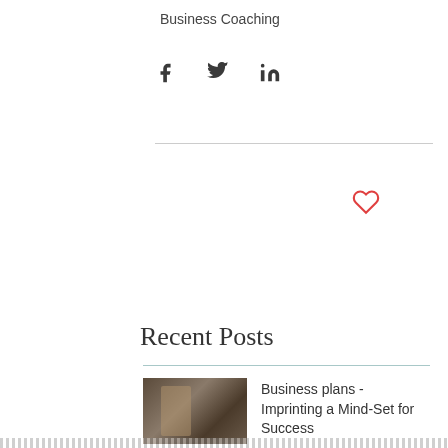Business Coaching
[Figure (infographic): Social media share icons: Facebook (f), Twitter (bird), LinkedIn (in)]
[Figure (infographic): Heart/like icon (outline, red)]
Recent Posts
[Figure (photo): Thumbnail photo of a person seated at a desk in a dark interior setting]
Business plans - Imprinting a Mind-Set for Success